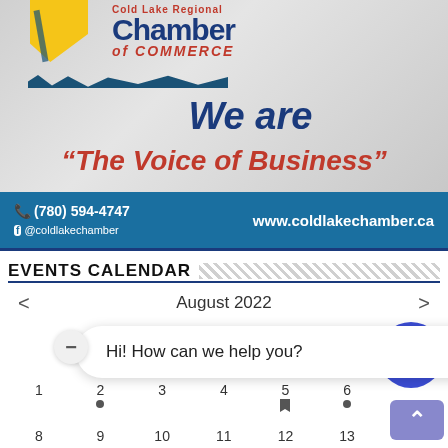[Figure (logo): Cold Lake Regional Chamber of Commerce logo with yellow swoosh, blue wave, and blue/red text]
We are
"The Voice of Business"
(780) 594-4747  @coldlakechamber  www.coldlakechamber.ca
EVENTS CALENDAR
August 2022
Hi! How can we help you?
1  2  3  4  5  6
8  9  10  11  12  13  14